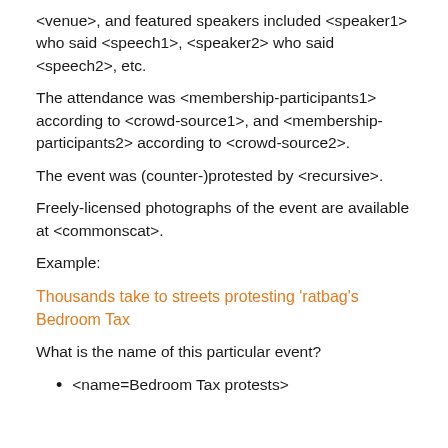<venue>, and featured speakers included <speaker1> who said <speech1>, <speaker2> who said <speech2>, etc.
The attendance was <membership-participants1> according to <crowd-source1>, and <membership-participants2> according to <crowd-source2>.
The event was (counter-)protested by <recursive>.
Freely-licensed photographs of the event are available at <commonscat>.
Example:
Thousands take to streets protesting 'ratbag's Bedroom Tax
What is the name of this particular event?
<name=Bedroom Tax protests>